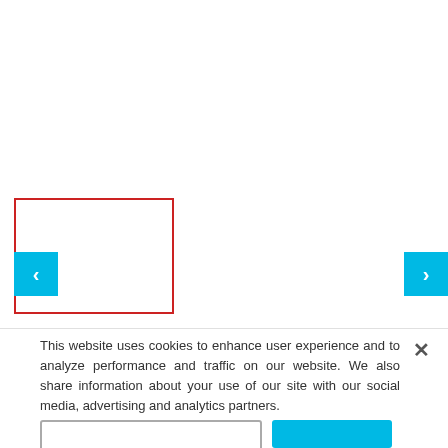[Figure (screenshot): Upper white area of a webpage with a carousel viewer. A red-bordered rectangle outlines a document/image thumbnail on the left. A cyan/blue left navigation arrow button is overlaid on the left side. A cyan/blue right navigation arrow button appears on the far right.]
This website uses cookies to enhance user experience and to analyze performance and traffic on our website. We also share information about your use of our site with our social media, advertising and analytics partners.
[Figure (screenshot): Two buttons at the bottom: an outlined button on the left and a filled cyan button on the right.]